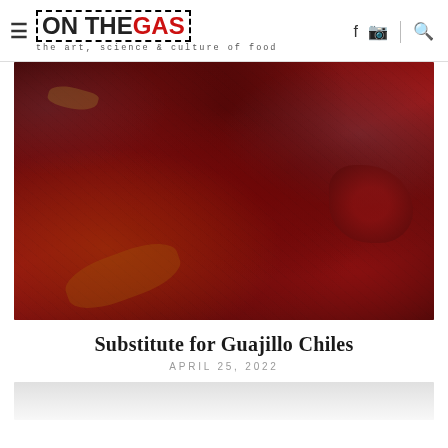ON THE GAS – the art, science & culture of food
[Figure (photo): Close-up photograph of dried guajillo chiles, showing dark reddish-brown wrinkled pepper skins piled together]
Substitute for Guajillo Chiles
APRIL 25, 2022
[Figure (photo): Partial view of another image at the bottom of the page, appears light gray/white]